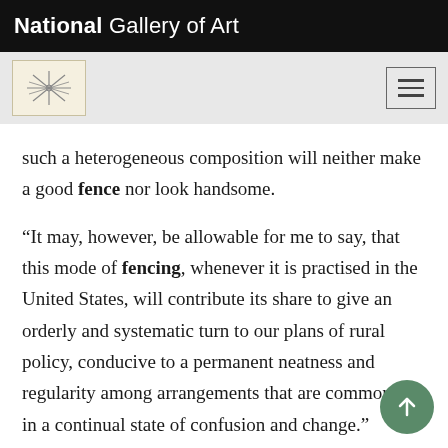National Gallery of Art
such a heterogeneous composition will neither make a good fence nor look handsome.
“It may, however, be allowable for me to say, that this mode of fencing, whenever it is practised in the United States, will contribute its share to give an orderly and systematic turn to our plans of rural policy, conducive to a permanent neatness and regularity among arrangements that are commonly in a continual state of confusion and change.”